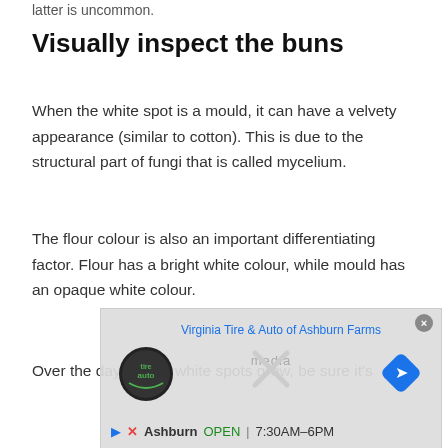latter is uncommon.
Visually inspect the buns
When the white spot is a mould, it can have a velvety appearance (similar to cotton). This is due to the structural part of fungi that is called mycelium.
The flour colour is also an important differentiating factor. Flour has a bright white colour, while mould has an opaque white colour.
Over the days, if the white spots grow, be sure it's
[Figure (screenshot): Advertisement overlay showing Virginia Tire & Auto of Ashburn Farms map/business listing with logo, navigation icon, X close button, and 'Ashburn OPEN 7:30AM-6PM' info. Background shows a partial map view. Also shows 'media' text watermark.]